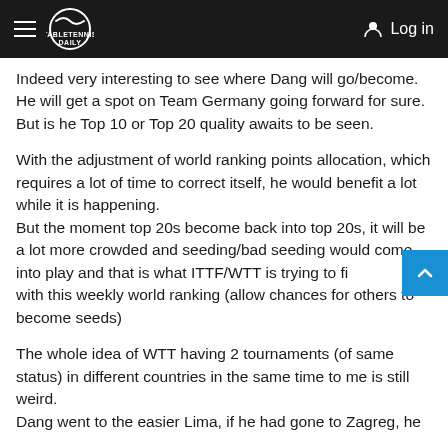TableTennisDaily — Log in
Indeed very interesting to see where Dang will go/become. He will get a spot on Team Germany going forward for sure. But is he Top 10 or Top 20 quality awaits to be seen.
With the adjustment of world ranking points allocation, which requires a lot of time to correct itself, he would benefit a lot while it is happening.
But the moment top 20s become back into top 20s, it will be a lot more crowded and seeding/bad seeding would come into play and that is what ITTF/WTT is trying to fix with this weekly world ranking (allow chances for others to become seeds)
The whole idea of WTT having 2 tournaments (of same status) in different countries in the same time to me is still weird.
Dang went to the easier Lima, if he had gone to Zagreg, he